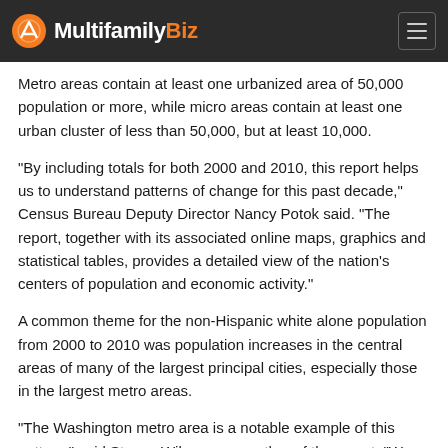MultifamilyBiz
Metro areas contain at least one urbanized area of 50,000 population or more, while micro areas contain at least one urban cluster of less than 50,000, but at least 10,000.
"By including totals for both 2000 and 2010, this report helps us to understand patterns of change for this past decade," Census Bureau Deputy Director Nancy Potok said. "The report, together with its associated online maps, graphics and statistical tables, provides a detailed view of the nation's centers of population and economic activity."
A common theme for the non-Hispanic white alone population from 2000 to 2010 was population increases in the central areas of many of the largest principal cities, especially those in the largest metro areas.
"The Washington metro area is a notable example of this pattern," said Steven Wilson, a co-author of the report. "We see increases in the